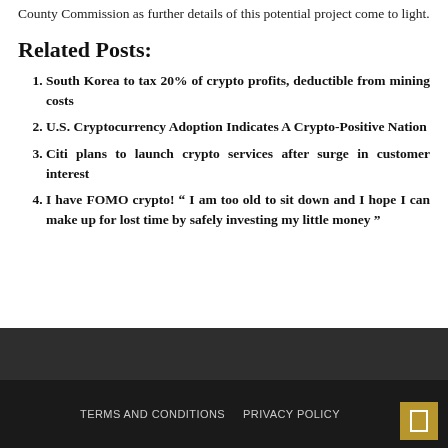County Commission as further details of this potential project come to light.
Related Posts:
South Korea to tax 20% of crypto profits, deductible from mining costs
U.S. Cryptocurrency Adoption Indicates A Crypto-Positive Nation
Citi plans to launch crypto services after surge in customer interest
I have FOMO crypto! “ I am too old to sit down and I hope I can make up for lost time by safely investing my little money ”
TERMS AND CONDITIONS   PRIVACY POLICY